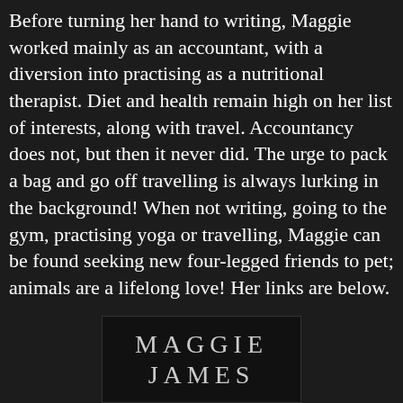Before turning her hand to writing, Maggie worked mainly as an accountant, with a diversion into practising as a nutritional therapist. Diet and health remain high on her list of interests, along with travel. Accountancy does not, but then it never did. The urge to pack a bag and go off travelling is always lurking in the background! When not writing, going to the gym, practising yoga or travelling, Maggie can be found seeking new four-legged friends to pet; animals are a lifelong love! Her links are below.
[Figure (logo): Author logo/branding image showing 'MAGGIE JAMES' text in serif font on dark background]